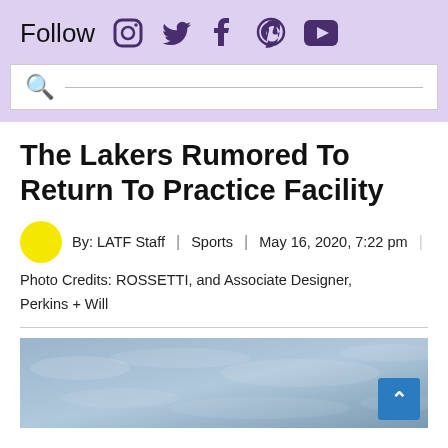Follow [Instagram] [Twitter] [Facebook] [Pinterest] [YouTube]
The Lakers Rumored To Return To Practice Facility
By: LATF Staff | Sports | May 16, 2020, 7:22 pm
Photo Credits: ROSSETTI, and Associate Designer, Perkins + Will
[Figure (photo): Aerial or sky-level photo used as article header image, appearing partially cropped at bottom of page]